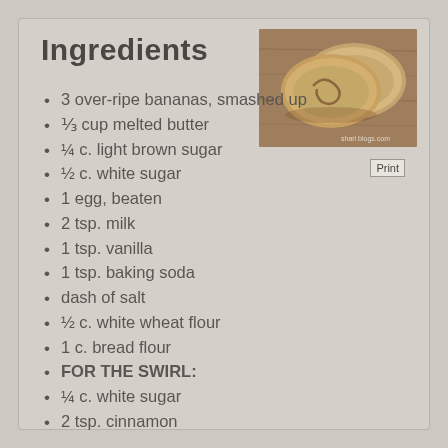Ingredients
[Figure (photo): Sliced banana bread loaf on a wooden cutting board, showing moist interior with cinnamon swirl]
Print
3 over-ripe bananas, smashed up
⅓ cup melted butter
¼ c. light brown sugar
½ c. white sugar
1 egg, beaten
2 tsp. milk
1 tsp. vanilla
1 tsp. baking soda
dash of salt
½ c. white wheat flour
1 c. bread flour
FOR THE SWIRL:
¼ c. white sugar
2 tsp. cinnamon